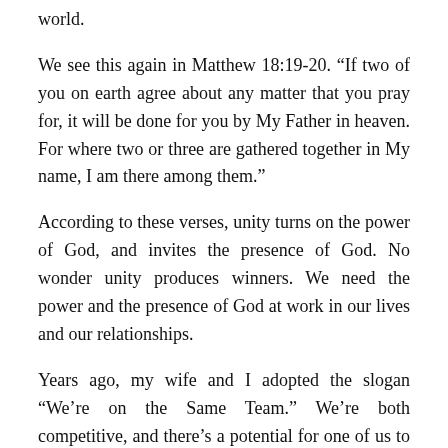world.
We see this again in Matthew 18:19-20. “If two of you on earth agree about any matter that you pray for, it will be done for you by My Father in heaven. For where two or three are gathered together in My name, I am there among them.”
According to these verses, unity turns on the power of God, and invites the presence of God. No wonder unity produces winners. We need the power and the presence of God at work in our lives and our relationships.
Years ago, my wife and I adopted the slogan “We’re on the Same Team.” We’re both competitive, and there’s a potential for one of us to feel good for winning, at the expense of the other feeling bad for losing, and we don’t want that to happen. In reality, husband and wife both win, or they both lose. Everyone in the church wins, or the